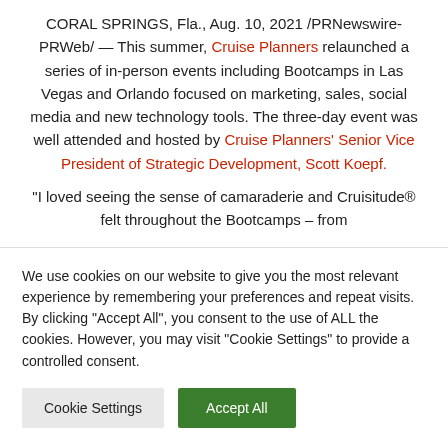CORAL SPRINGS, Fla., Aug. 10, 2021 /PRNewswire-PRWeb/ — This summer, Cruise Planners relaunched a series of in-person events including Bootcamps in Las Vegas and Orlando focused on marketing, sales, social media and new technology tools. The three-day event was well attended and hosted by Cruise Planners' Senior Vice President of Strategic Development, Scott Koepf.
“I loved seeing the sense of camaraderie and Cruisitude® felt throughout the Bootcamps – from
We use cookies on our website to give you the most relevant experience by remembering your preferences and repeat visits. By clicking “Accept All”, you consent to the use of ALL the cookies. However, you may visit "Cookie Settings" to provide a controlled consent.